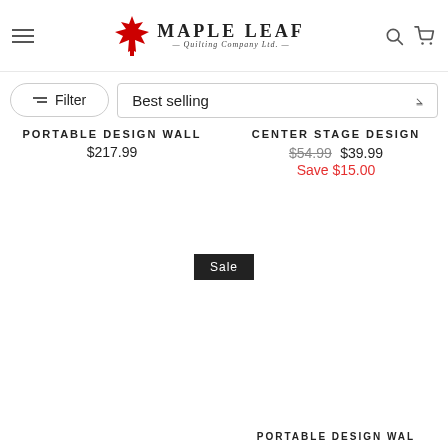Maple Leaf Quilting Company Ltd.
Filter | Best selling
PORTABLE DESIGN WALL
$217.99
CENTER STAGE DESIGN
$54.99  $39.99  Save $15.00
Sale
PORTABLE DESIGN WAL